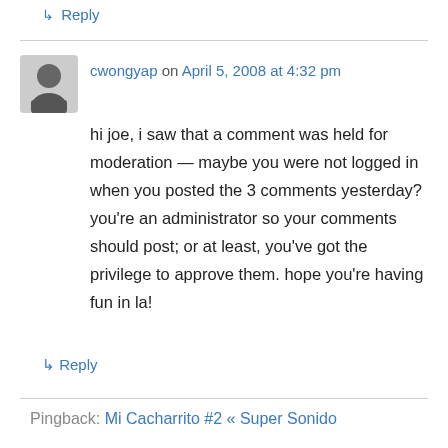↳ Reply
cwongyap on April 5, 2008 at 4:32 pm
hi joe, i saw that a comment was held for moderation — maybe you were not logged in when you posted the 3 comments yesterday? you're an administrator so your comments should post; or at least, you've got the privilege to approve them. hope you're having fun in la!
↳ Reply
Pingback: Mi Cacharrito #2 « Super Sonido